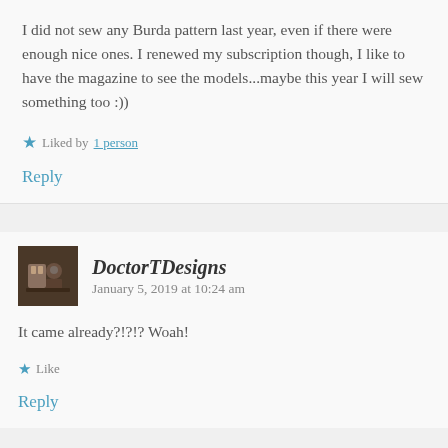I did not sew any Burda pattern last year, even if there were enough nice ones. I renewed my subscription though, I like to have the magazine to see the models...maybe this year I will sew something too :))
Liked by 1 person
Reply
DoctorTDesigns  January 5, 2019 at 10:24 am
It came already?!?!? Woah!
Like
Reply